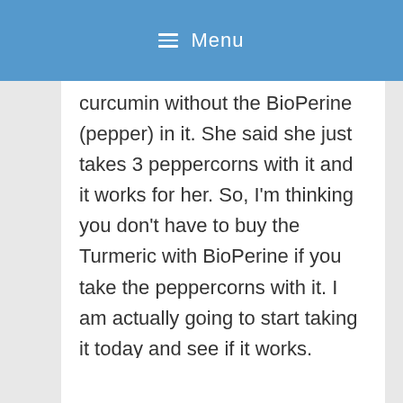≡ Menu
curcumin without the BioPerine (pepper) in it. She said she just takes 3 peppercorns with it and it works for her. So, I'm thinking you don't have to buy the Turmeric with BioPerine if you take the peppercorns with it. I am actually going to start taking it today and see if it works.
Reply